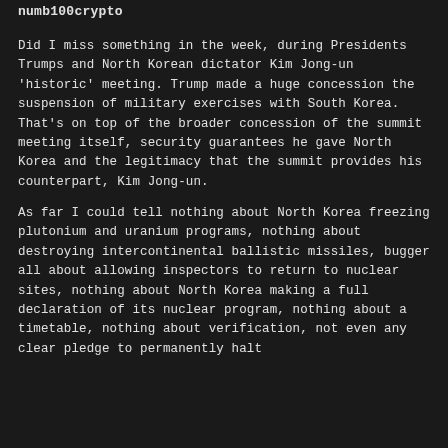numb100crypto
Did I miss something in the week, during Presidents Trumps and North Korean dictator Kim Jong-un 'historic' meeting. Trump made a huge concession the suspension of military exercises with South Korea. That's on top of the broader concession of the summit meeting itself, security guarantees he gave North Korea and the legitimacy that the summit provides his counterpart, Kim Jong-un.
As far I could tell nothing about North Korea freezing plutonium and uranium programs, nothing about destroying intercontinental ballistic missiles, bugger all about allowing inspectors to return to nuclear sites, nothing about North Korea making a full declaration of its nuclear program, nothing about a timetable, nothing about verification, not even any clear pledge to permanently halt